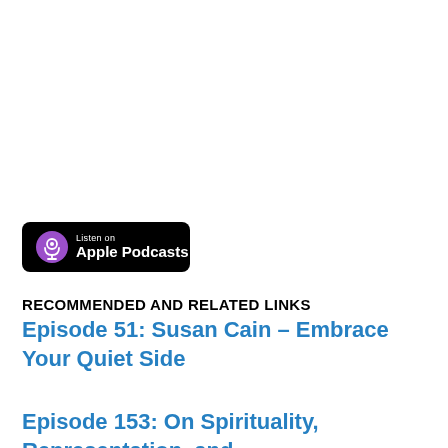[Figure (logo): Listen on Apple Podcasts badge — black rounded rectangle with purple podcast icon on left and white text 'Listen on Apple Podcasts']
RECOMMENDED AND RELATED LINKS
Episode 51: Susan Cain – Embrace Your Quiet Side
Episode 153: On Spirituality, Representation, and